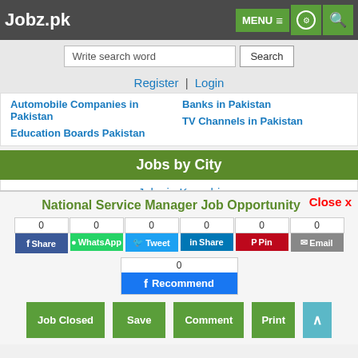Jobz.pk
Write search word | Search
Register | Login
Automobile Companies in Pakistan
Banks in Pakistan
TV Channels in Pakistan
Education Boards Pakistan
Jobs by City
Jobs in Karachi
Jobs in Lahore
Jobs in Islamabad
National Service Manager Job Opportunity
Share buttons: Share (Facebook), WhatsApp, Tweet, Share (LinkedIn), Pin, Email, Recommend
Job Closed | Save | Comment | Print